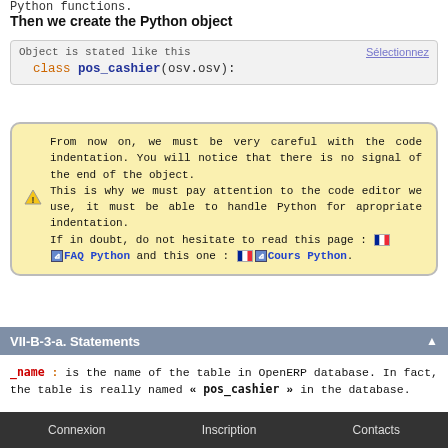Python functions.
Then we create the Python object
[Figure (screenshot): Code box showing: Object is stated like this / class pos_cashier(osv.osv): with Sélectionnez link]
From now on, we must be very careful with the code indentation. You will notice that there is no signal of the end of the object. This is why we must pay attention to the code editor we use, it must be able to handle Python for apropriate indentation. If in doubt, do not hesitate to read this page : [flag] [ext]FAQ Python and this one : [flag][ext]Cours Python.
VII-B-3-a. Statements
_name : is the name of the table in OpenERP database. In fact, the table is really named « pos_cashier » in the database.
[Figure (screenshot): Bottom code box showing _name with Sélectionnez link]
Connexion   Inscription   Contacts